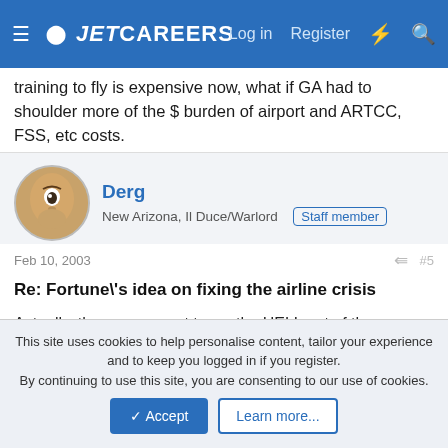JETCAREERS — Log in | Register
training to fly is expensive now, what if GA had to shoulder more of the $ burden of airport and ARTCC, FSS, etc costs.
Derg
New Arizona, Il Duce/Warlord [Staff member]
Feb 10, 2003  #5
Re: Fortune\'s idea on fixing the airline crisis
Actually, the government taxes the HELL out of the consumer.

Let's look at a $81.86 fare on Southwest from Phoenix to Orange County (my way of showing mad props to my SoCal
This site uses cookies to help personalise content, tailor your experience and to keep you logged in if you register.
By continuing to use this site, you are consenting to our use of cookies.